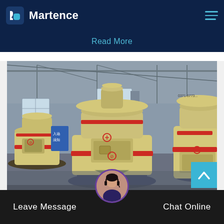Martence
Read More
[Figure (photo): Industrial factory floor showing large yellow grinding mill machines (Raymond mills) with red accent bands, set inside a warehouse with steel roof trusses and natural light from windows in background]
Leave Message
Chat Online